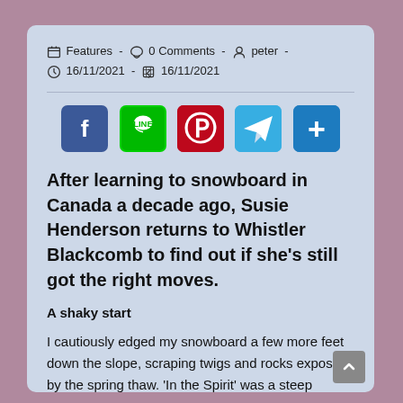Features - 0 Comments - peter - 16/11/2021 - 16/11/2021
[Figure (infographic): Social share buttons: Facebook (blue), LINE (green), Pinterest (red), Telegram (cyan), Share/More (blue)]
After learning to snowboard in Canada a decade ago, Susie Henderson returns to Whistler Blackcomb to find out if she’s still got the right moves.
A shaky start
I cautiously edged my snowboard a few more feet down the slope, scraping twigs and rocks exposed by the spring thaw. ‘In the Spirit’ was a steep gladed trail (where the trees had been thinned out a little) and had seemed the